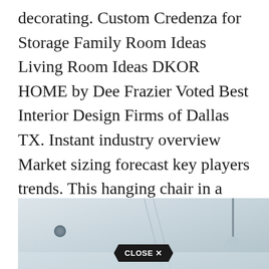decorating. Custom Credenza for Storage Family Room Ideas Living Room Ideas DKOR HOME by Dee Frazier Voted Best Interior Design Firms of Dallas TX. Instant industry overview Market sizing forecast key players trends. This hanging chair in a living room designed by Romanek Design Studio is proves.
[Figure (photo): Interior room photo showing a light-colored ceiling with a recessed light, diagonal ceiling fold/beam, and a pendant lamp. A 'CLOSE X' button overlay appears at the bottom center of the image.]